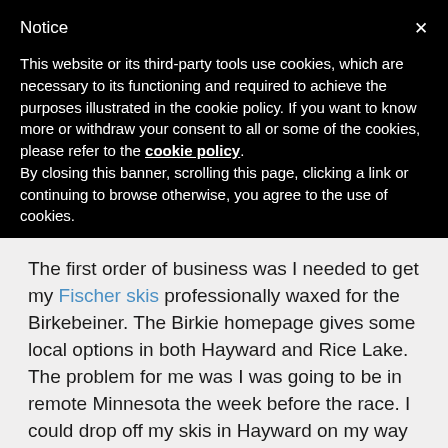Notice
This website or its third-party tools use cookies, which are necessary to its functioning and required to achieve the purposes illustrated in the cookie policy. If you want to know more or withdraw your consent to all or some of the cookies, please refer to the cookie policy.
By closing this banner, scrolling this page, clicking a link or continuing to browse otherwise, you agree to the use of cookies.
The first order of business was I needed to get my Fischer skis professionally waxed for the Birkebeiner. The Birkie homepage gives some local options in both Hayward and Rice Lake. The problem for me was I was going to be in remote Minnesota the week before the race. I could drop off my skis in Hayward on my way up, but Hayward is off the main route by 30 miles.